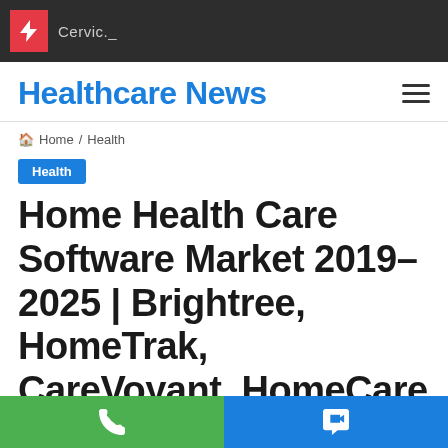Cervic._
Healthcare News
Home / Health
Health
Home Health Care Software Market 2019–2025 | Brightree, HomeTrak, CareVoyant, HomeCare Accounting Solutions, *ContinuLink, Alora